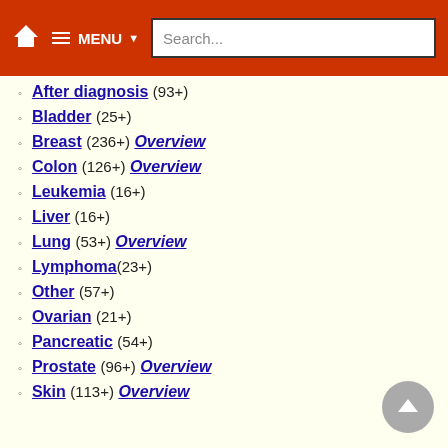MENU Search...
After diagnosis (93+)
Bladder (25+)
Breast (236+) Overview
Colon (126+) Overview
Leukemia (16+)
Liver (16+)
Lung (53+) Overview
Lymphoma(23+)
Other (57+)
Ovarian (21+)
Pancreatic (54+)
Prostate (96+) Overview
Skin (113+) Overview